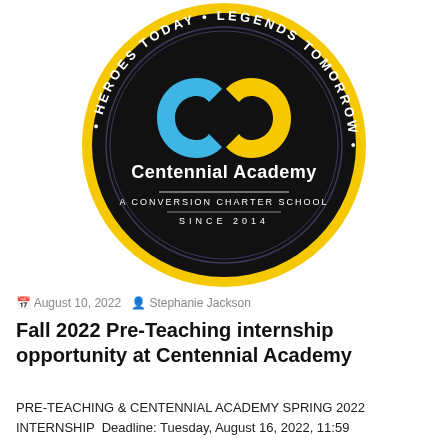[Figure (logo): Centennial Academy circular badge logo. Black circular seal with yellow border. Blue and yellow interlocking 'C' and 'P' logo symbol at top. White text reads 'Centennial Academy', 'A CONVERSION CHARTER SCHOOL', 'SINCE 2014'. Outer ring reads 'HEROES TODAY · LEGENDS TOMORROW ·']
August 10, 2022   Stephanie Jackson
Fall 2022 Pre-Teaching internship opportunity at Centennial Academy
PRE-TEACHING & CENTENNIAL ACADEMY SPRING 2022 INTERNSHIP  Deadline: Tuesday, August 16, 2022, 11:59